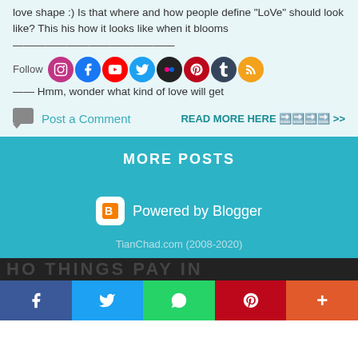love shape :) Is that where and how people define "LoVe" should look like? This his how it looks like when it blooms
Follow [social icons row]
—— Hmm, wonder what kind of love will get
Post a Comment
READ MORE HERE 🔜🔜🔜🔜 >>
MORE POSTS
Powered by Blogger
TianChad.com (2008-2020)